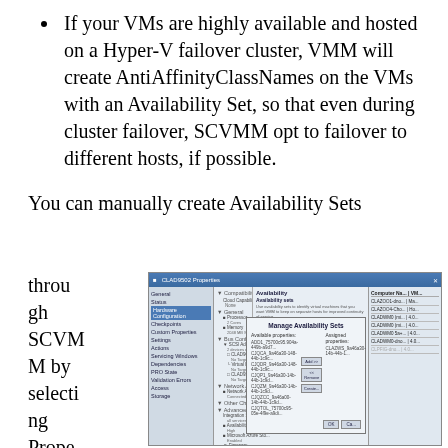If your VMs are highly available and hosted on a Hyper-V failover cluster, VMM will create AntiAffinityClassNames on the VMs with an Availability Set, so that even during cluster failover, SCVMM opt to failover to different hosts, if possible.
You can manually create Availability Sets through SCVMM by selecting Prope
[Figure (screenshot): Screenshot of SCVMM CLAD9502 Properties dialog showing Availability sets configuration panel with a Manage Availability Sets overlay dialog listing available and assigned properties.]